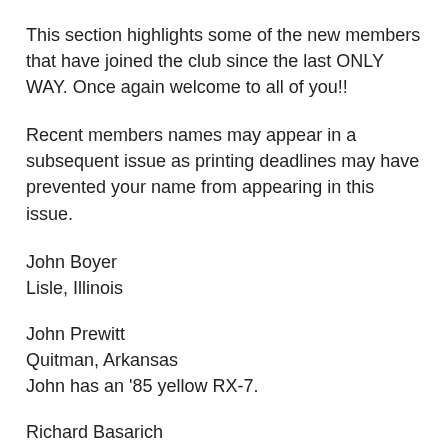This section highlights some of the new members that have joined the club since the last ONLY WAY. Once again welcome to all of you!!
Recent members names may appear in a subsequent issue as printing deadlines may have prevented your name from appearing in this issue.
John Boyer
Lisle, Illinois
John Prewitt
Quitman, Arkansas
John has an ’85 yellow RX-7.
Richard Basarich
Gurnee, Illinois
Richard has an ’82 white RX-7 GL